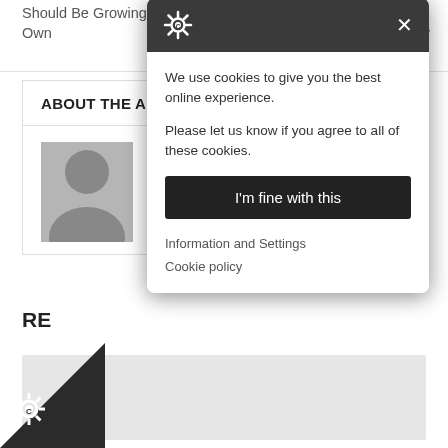Should Be Growing Your Own
Site | Birmingham Digital Agency
ABOUT THE AUTHOR
Football Gifts Direct
RE
[Figure (screenshot): Cookie consent popup modal with dark header containing gear/settings icon and X close button, body text about cookies, 'I'm fine with this' button, and links for Information and Settings and Cookie policy]
We use cookies to give you the best online experience.
Please let us know if you agree to all of these cookies.
I'm fine with this
Information and Settings
Cookie policy